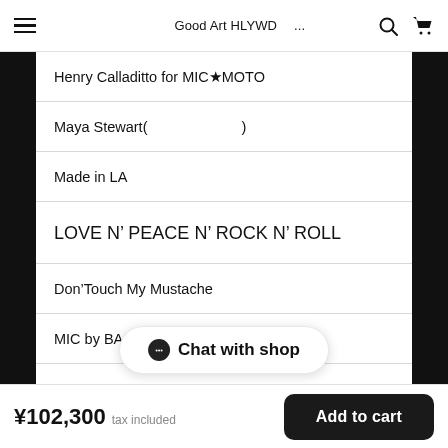≡  ＿＿ ＿＿＿ ＿＿＿＿＿Good Art HLYWD ＿...  🔍  🛒
Henry Calladitto for MIC★MOTO
Maya Stewart(＿＿ ＿＿＿＿＿＿)
Made in LA＿＿＿＿ ＿＿ ＿＿＿＿＿
LOVE N' PEACE N' ROCK N' ROLL
Don'Touch My Mustache＿
MIC by BACKLASH
MIC
[Figure (other): Chat with shop button overlay]
¥102,300 tax included   Add to cart